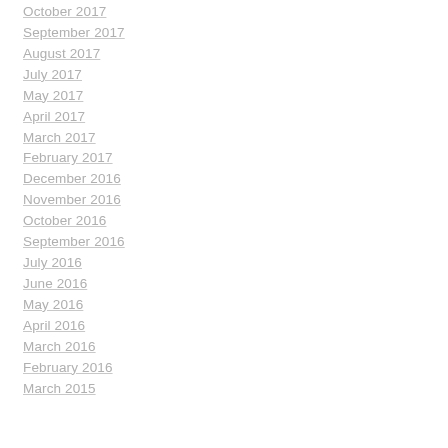October 2017
September 2017
August 2017
July 2017
May 2017
April 2017
March 2017
February 2017
December 2016
November 2016
October 2016
September 2016
July 2016
June 2016
May 2016
April 2016
March 2016
February 2016
March 2015